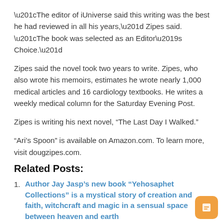“The editor of iUniverse said this writing was the best he had reviewed in all his years,” Zipes said. “The book was selected as an Editor’s Choice.”
Zipes said the novel took two years to write. Zipes, who also wrote his memoirs, estimates he wrote nearly 1,000 medical articles and 16 cardiology textbooks. He writes a weekly medical column for the Saturday Evening Post.
Zipes is writing his next novel, “The Last Day I Walked.”
“Ari’s Spoon” is available on Amazon.com. To learn more, visit dougzipes.com.
Related Posts:
Author Jay Jasp’s new book “Yehosaphet Collections” is a mystical story of creation and faith, witchcraft and magic in a sensual space between heaven and earth
The author’s house / SLETH architects
Local author publishes novel about missing Lincoln